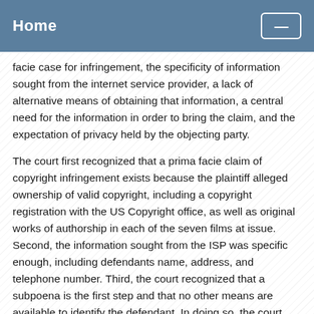Home
facie case for infringement, the specificity of information sought from the internet service provider, a lack of alternative means of obtaining that information, a central need for the information in order to bring the claim, and the expectation of privacy held by the objecting party.
The court first recognized that a prima facie claim of copyright infringement exists because the plaintiff alleged ownership of valid copyright, including a copyright registration with the US Copyright office, as well as original works of authorship in each of the seven films at issue. Second, the information sought from the ISP was specific enough, including defendants name, address, and telephone number. Third, the court recognized that a subpoena is the first step and that no other means are available to identify the defendant. In doing so, the court noted that this information is not guaranteed to produce the identity of the infringer, the court could not identify any other reasonable way of discovering the infringer other by permitting the discovery into the identity of the defendant, who has not disputed